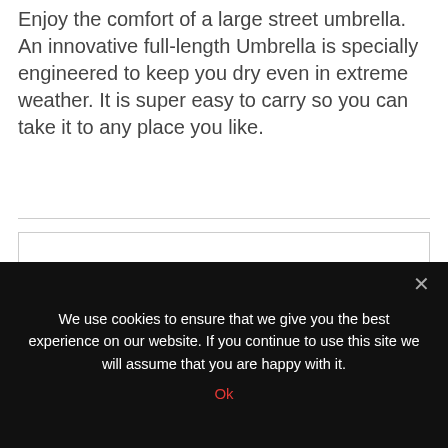Enjoy the comfort of a large street umbrella. An innovative full-length Umbrella is specially engineered to keep you dry even in extreme weather. It is super easy to carry so you can take it to any place you like.
[Figure (photo): Photo of a large brown umbrella canopy viewed from below/side against a white background, showing the dark reddish-brown fabric.]
We use cookies to ensure that we give you the best experience on our website. If you continue to use this site we will assume that you are happy with it.
Ok